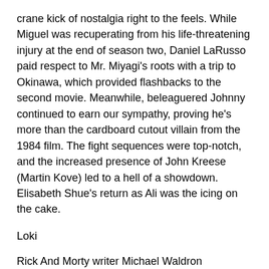crane kick of nostalgia right to the feels. While Miguel was recuperating from his life-threatening injury at the end of season two, Daniel LaRusso paid respect to Mr. Miyagi's roots with a trip to Okinawa, which provided flashbacks to the second movie. Meanwhile, beleaguered Johnny continued to earn our sympathy, proving he's more than the cardboard cutout villain from the 1984 film. The fight sequences were top-notch, and the increased presence of John Kreese (Martin Kove) led to a hell of a showdown. Elisabeth Shue's return as Ali was the icing on the cake.
Loki
Rick And Morty writer Michael Waldron embraced the anti-logic of the multiverse to give us the MCU's most gleefully eccentric sidestep in a show seemingly designed to let Tom Hiddleston do whatever he wanted. Who cares if Loki died a couple of movies ago – a quick back-pedal through time and space let him dance through a Doctor Who-tinged cosmic detective show, complete with sidekicks (Owen Wilson), alt-identities